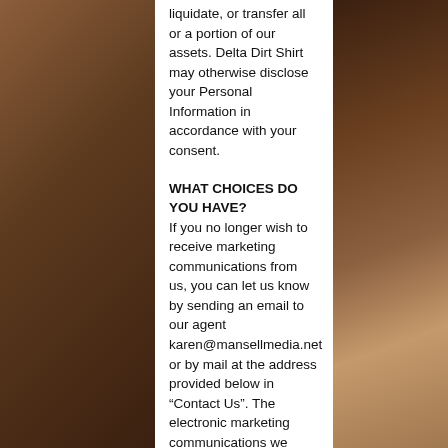liquidate, or transfer all or a portion of our assets. Delta Dirt Shirt may otherwise disclose your Personal Information in accordance with your consent.
WHAT CHOICES DO YOU HAVE?
If you no longer wish to receive marketing communications from us, you can let us know by sending an email to our agent karen@mansellmedia.net or by mail at the address provided below in “Contact Us”. The electronic marketing communications we send may also contain an opt-out mechanism. Please note that it may take up to 30 calendar days to remove your contact information from our marketing communications lists, so you may receive correspondence from us